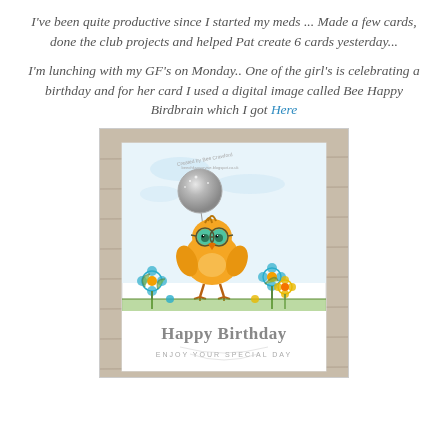I've been quite productive since I started my meds ... Made a few cards, done the club projects and helped Pat create 6 cards yesterday...
I'm lunching with my GF's on Monday.. One of the girl's is celebrating a birthday and for her card I used a digital image called Bee Happy Birdbrain which I got Here
[Figure (photo): A handmade birthday card featuring a cute orange bird wearing green glasses holding a silver glitter balloon, surrounded by colorful flowers, with 'Happy Birthday ENJOY YOUR SPECIAL DAY' text at the bottom. The card is placed against a rustic wood background.]